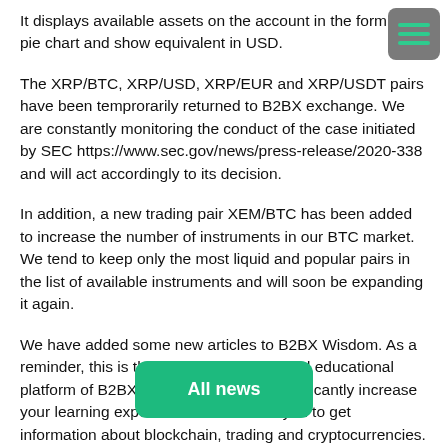It displays available assets on the account in the form of pie chart and show equivalent in USD.
The XRP/BTC, XRP/USD, XRP/EUR and XRP/USDT pairs have been temprorarily returned to B2BX exchange. We are constantly monitoring the conduct of the case initiated by SEC https://www.sec.gov/news/press-release/2020-338 and will act accordingly to its decision.
In addition, a new trading pair XEM/BTC has been added to increase the number of instruments in our BTC market. We tend to keep only the most liquid and popular pairs in the list of available instruments and will soon be expanding it again.
We have added some new articles to B2BX Wisdom. As a reminder, this is the new informational and educational platform of B2BX Exchange that can significantly increase your learning experience and enables you to get information about blockchain, trading and cryptocurrencies. The new materials are available via wisdom.b2bx.exchange.
All news